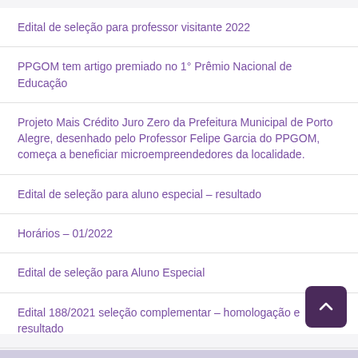Edital de seleção para professor visitante 2022
PPGOM tem artigo premiado no 1° Prêmio Nacional de Educação
Projeto Mais Crédito Juro Zero da Prefeitura Municipal de Porto Alegre, desenhado pelo Professor Felipe Garcia do PPGOM, começa a beneficiar microempreendedores da localidade.
Edital de seleção para aluno especial – resultado
Horários – 01/2022
Edital de seleção para Aluno Especial
Edital 188/2021 seleção complementar – homologação e resultado